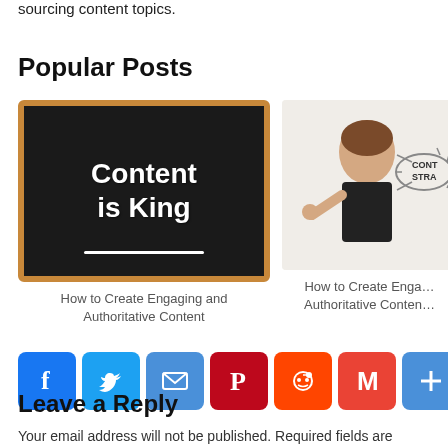sourcing content topics.
Popular Posts
[Figure (photo): Chalkboard image with text 'Content is King' written in white chalk-style lettering on a dark board with wooden frame]
How to Create Engaging and Authoritative Content
[Figure (photo): Woman giving thumbs up next to a content strategy diagram bubble with arrows]
How to Create Engaging and Authoritative Content
[Figure (infographic): Social share buttons: Facebook, Twitter, Email, Pinterest, Reddit, Gmail, Share+]
Leave a Reply
Your email address will not be published. Required fields are